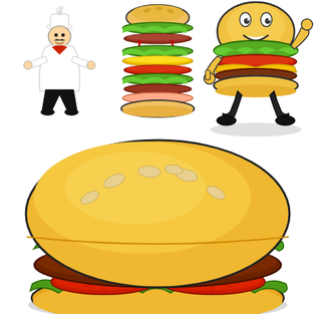[Figure (illustration): Cartoon food clip art: three images in top row - a cartoon chef in white uniform gesturing, a tall stacked burger/sandwich with multiple colorful layers, and an anthropomorphic burger character with face, arms and legs giving thumbs up. Below is a large detailed cartoon hamburger illustration showing a golden sesame-seed bun, green lettuce, red tomato slices, and a brown meat patty.]